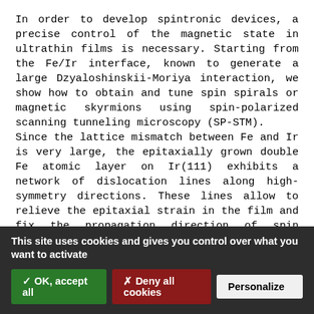In order to develop spintronic devices, a precise control of the magnetic state in ultrathin films is necessary. Starting from the Fe/Ir interface, known to generate a large Dzyaloshinskii-Moriya interaction, we show how to obtain and tune spin spirals or magnetic skyrmions using spin-polarized scanning tunneling microscopy (SP-STM).
Since the lattice mismatch between Fe and Ir is very large, the epitaxially grown double Fe atomic layer on Ir(111) exhibits a network of dislocation lines along high-symmetry directions. These lines allow to relieve the epitaxial strain in the film and fix the propagation direction of spin spirals with a period about 1.5 nm.
When atomic hydrogen is incorporated in the double layer film, the dislocation lines network disappears and is replaced by a p(2×2) hexagonal superstructure. The propagation direction of the spin spirals is thus not fixed anymore and their
This site uses cookies and gives you control over what you want to activate